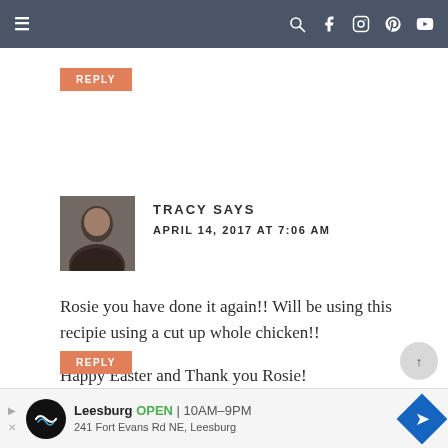Navigation bar with hamburger menu and social icons
REPLY
TRACY SAYS
APRIL 14, 2017 AT 7:06 AM
Rosie you have done it again!! Will be using this recipie using a cut up whole chicken!!

Happy Easter and Thank you Rosie!
REPLY
[Figure (other): Advertisement banner for Leesburg store showing logo, open hours 10AM-9PM, address 241 Fort Evans Rd NE Leesburg, and navigation arrow]